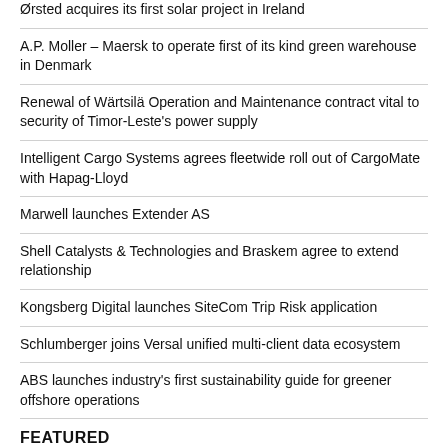Ørsted acquires its first solar project in Ireland
A.P. Moller – Maersk to operate first of its kind green warehouse in Denmark
Renewal of Wärtsilä Operation and Maintenance contract vital to security of Timor-Leste's power supply
Intelligent Cargo Systems agrees fleetwide roll out of CargoMate with Hapag-Lloyd
Marwell launches Extender AS
Shell Catalysts & Technologies and Braskem agree to extend relationship
Kongsberg Digital launches SiteCom Trip Risk application
Schlumberger joins Versal unified multi-client data ecosystem
ABS launches industry's first sustainability guide for greener offshore operations
FEATURED